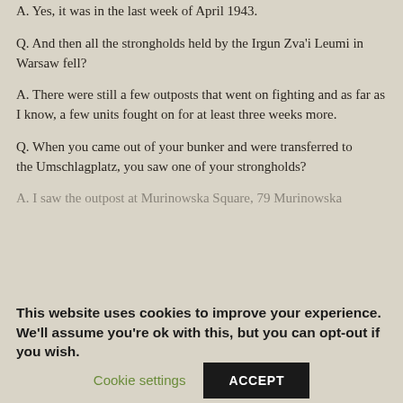A. Yes, it was in the last week of April 1943.
Q. And then all the strongholds held by the Irgun Zva'i Leumi in Warsaw fell?
A. There were still a few outposts that went on fighting and as far as I know, a few units fought on for at least three weeks more.
Q. When you came out of your bunker and were transferred to the Umschlagplatz, you saw one of your strongholds?
A. I saw the outpost at Murinowska Square, 79 Murinowska...
This website uses cookies to improve your experience. We'll assume you're ok with this, but you can opt-out if you wish.
Cookie settings
ACCEPT